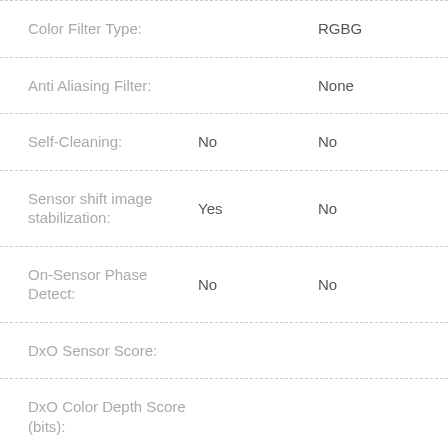|  |  |  |
| --- | --- | --- |
| Color Filter Type: |  | RGBG |
| Anti Aliasing Filter: |  | None |
| Self-Cleaning: | No | No |
| Sensor shift image stabilization: | Yes | No |
| On-Sensor Phase Detect: | No | No |
| DxO Sensor Score: |  |  |
| DxO Color Depth Score (bits): |  |  |